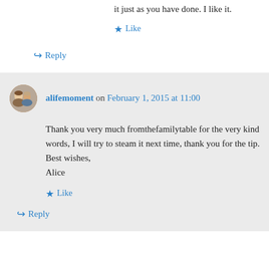it just as you have done. I like it.
★ Like
↪ Reply
alifemoment on February 1, 2015 at 11:00
Thank you very much fromthefamilytable for the very kind words, I will try to steam it next time, thank you for the tip. Best wishes, Alice
★ Like
↪ Reply